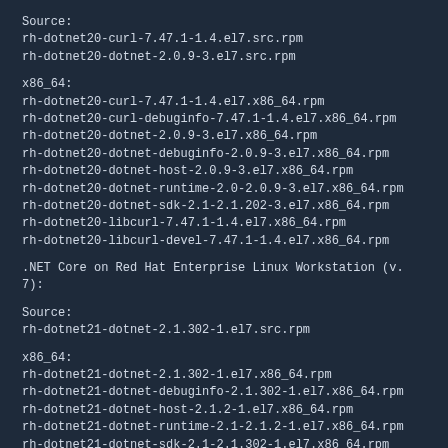Source:
rh-dotnet20-curl-7.47.1-1.4.el7.src.rpm
rh-dotnet20-dotnet-2.0.9-3.el7.src.rpm
x86_64:
rh-dotnet20-curl-7.47.1-1.4.el7.x86_64.rpm
rh-dotnet20-curl-debuginfo-7.47.1-1.4.el7.x86_64.rpm
rh-dotnet20-dotnet-2.0.9-3.el7.x86_64.rpm
rh-dotnet20-dotnet-debuginfo-2.0.9-3.el7.x86_64.rpm
rh-dotnet20-dotnet-host-2.0.9-3.el7.x86_64.rpm
rh-dotnet20-dotnet-runtime-2.0-2.0.9-3.el7.x86_64.rpm
rh-dotnet20-dotnet-sdk-2.1-2.1.202-3.el7.x86_64.rpm
rh-dotnet20-libcurl-7.47.1-1.4.el7.x86_64.rpm
rh-dotnet20-libcurl-devel-7.47.1-1.4.el7.x86_64.rpm
.NET Core on Red Hat Enterprise Linux Workstation (v. 7):
Source:
rh-dotnet21-dotnet-2.1.302-1.el7.src.rpm
x86_64:
rh-dotnet21-dotnet-2.1.302-1.el7.x86_64.rpm
rh-dotnet21-dotnet-debuginfo-2.1.302-1.el7.x86_64.rpm
rh-dotnet21-dotnet-host-2.1.2-1.el7.x86_64.rpm
rh-dotnet21-dotnet-runtime-2.1-2.1.2-1.el7.x86_64.rpm
rh-dotnet21-dotnet-sdk-2.1-2.1.302-1.el7.x86_64.rpm
rh-dotnet21-dotnet-sdk-2.1.3xx-2.1.302-1.el7.x86_64.rpm
These packages are GPG signed by Red Hat for security.  Our key and details on how to verify the signature are available from https://access.redhat.com/security/team/key/